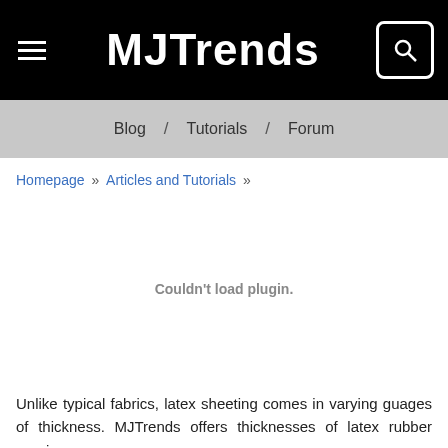MJTrends
Blog / Tutorials / Forum
Homepage » Articles and Tutorials »
[Figure (other): Couldn't load plugin. placeholder area]
Unlike typical fabrics, latex sheeting comes in varying guages of thickness. MJTrends offers thicknesses of latex rubber ranging